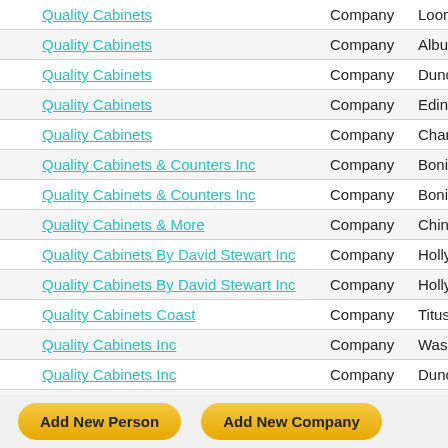|  | Name | Type | City |
| --- | --- | --- | --- |
|  | Quality Cabinets | Company | Loomis - |
|  | Quality Cabinets | Company | Albuquer |
|  | Quality Cabinets | Company | Duncanv |
|  | Quality Cabinets | Company | Edinburg |
|  | Quality Cabinets | Company | Charlotte |
|  | Quality Cabinets & Counters Inc | Company | Bonita Sp |
|  | Quality Cabinets & Counters Inc | Company | Bonita Sp |
|  | Quality Cabinets & More | Company | Chino - U |
|  | Quality Cabinets By David Stewart Inc | Company | Hollywoo |
|  | Quality Cabinets By David Stewart Inc | Company | Hollywoo |
|  | Quality Cabinets Coast | Company | Titusville |
|  | Quality Cabinets Inc | Company | Washbur |
|  | Quality Cabinets Inc | Company | Duncanv |
|  | Quality Cabinets Inc - North | Company | Holland - |
Pages: < 1 ... 6 7 8 [9] 10 11
Add New Person   Add New Company